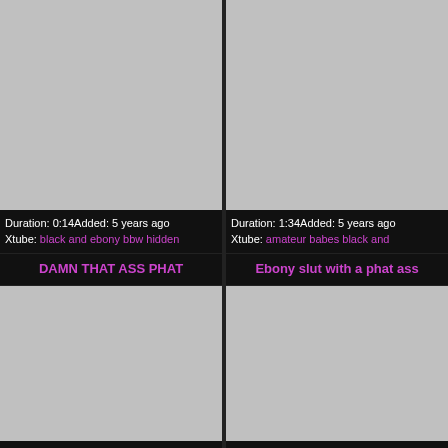[Figure (photo): Video thumbnail placeholder (grey rectangle), top-left]
[Figure (photo): Video thumbnail placeholder (grey rectangle), top-right]
Duration: 0:14Added: 5 years ago
Xtube: black and ebony bbw hidden
Duration: 1:34Added: 5 years ago
Xtube: amateur babes black and
DAMN THAT ASS PHAT
Ebony slut with a phat ass
[Figure (photo): Video thumbnail placeholder (grey rectangle), bottom-left]
[Figure (photo): Video thumbnail placeholder (grey rectangle), bottom-right]